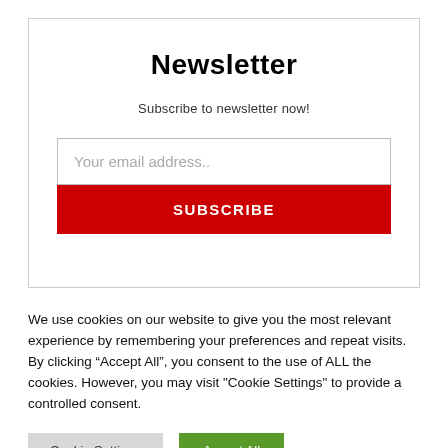Newsletter
Subscribe to newsletter now!
Your email address..
SUBSCRIBE
We use cookies on our website to give you the most relevant experience by remembering your preferences and repeat visits. By clicking “Accept All”, you consent to the use of ALL the cookies. However, you may visit "Cookie Settings" to provide a controlled consent.
Cookie Settings
Accept All